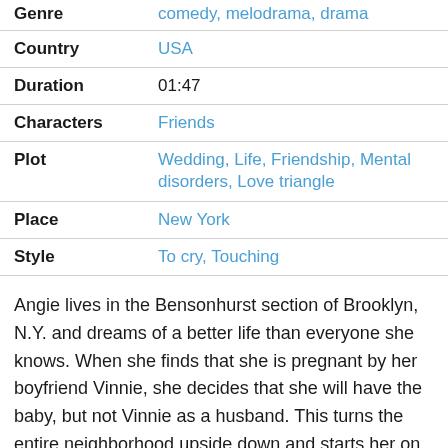| Field | Value |
| --- | --- |
| Genre | comedy, melodrama, drama |
| Country | USA |
| Duration | 01:47 |
| Characters | Friends |
| Plot | Wedding, Life, Friendship, Mental disorders, Love triangle |
| Place | New York |
| Style | To cry, Touching |
Angie lives in the Bensonhurst section of Brooklyn, N.Y. and dreams of a better life than everyone she knows. When she finds that she is pregnant by her boyfriend Vinnie, she decides that she will have the baby, but not Vinnie as a husband. This turns the entire neighborhood upside down and starts her on a journey of self discovery. This journey includes her family, a new lover and her life. Even her best friend Tina has trouble understanding Angie. Written by